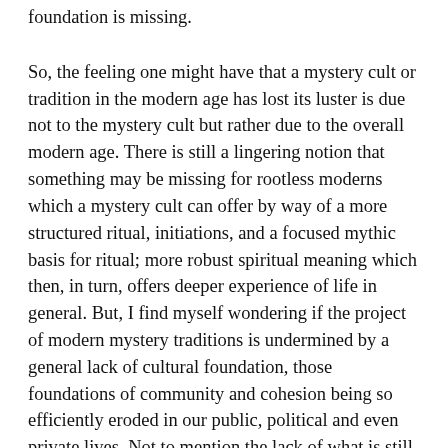foundation is missing.
So, the feeling one might have that a mystery cult or tradition in the modern age has lost its luster is due not to the mystery cult but rather due to the overall modern age. There is still a lingering notion that something may be missing for rootless moderns which a mystery cult can offer by way of a more structured ritual, initiations, and a focused mythic basis for ritual; more robust spiritual meaning which then, in turn, offers deeper experience of life in general. But, I find myself wondering if the project of modern mystery traditions is undermined by a general lack of cultural foundation, those foundations of community and cohesion being so efficiently eroded in our public, political and even private lives. Not to mention the lack of what is still called a “classical education” with the broad base of and relationship of familiarity with languages, myths, archetypes and so on. This, then becomes a chicken and egg, which can only be resolved by realizing the false dichotomy that one must be completed before the